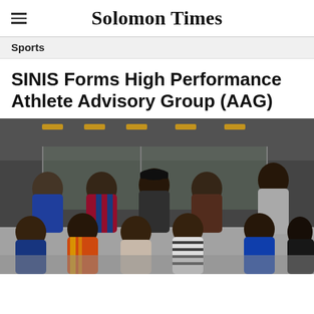Solomon Times
Sports
SINIS Forms High Performance Athlete Advisory Group (AAG)
[Figure (photo): Group photo of eleven people, men and women, sitting and standing in two rows indoors. Several are wearing face masks. They are dressed in sports jerseys and casual wear.]